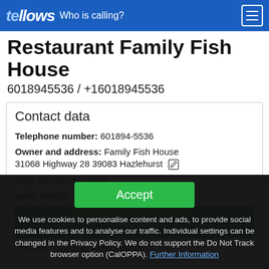tellows — Who is calling?
Restaurant Family Fish House
6018945536 / +16018945536
Contact data
Telephone number: 601894-5536
Owner and address: Family Fish House 31068 Highway 28 39083 Hazlehurst
City: Hazlehurst - USA
more details:
Find out
This info is supplied without liability.
Accept
We use cookies to personalise content and ads, to provide social media features and to analyse our traffic. Individual settings can be changed in the Privacy Policy. We do not support the Do Not Track browser option (CalOPPA). Further Information